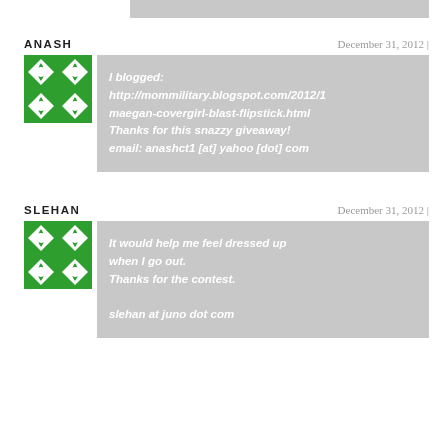ANASH
December 31, 2012 |
[Figure (illustration): Green and white geometric tile avatar for ANASH]
I blogged: http://mommilitary.blogspot.com/2012/1 maegan-covergirl-blast-flipstick.html Thanks for this snazzy giveaway! email: anashct1 [at] yahoo [dot] com
SLEHAN
December 31, 2012 |
[Figure (illustration): Green and white geometric tile avatar for SLEHAN]
It would help me feel dressed up when I go out. Thanks for the contest.

slehan at juno dot com